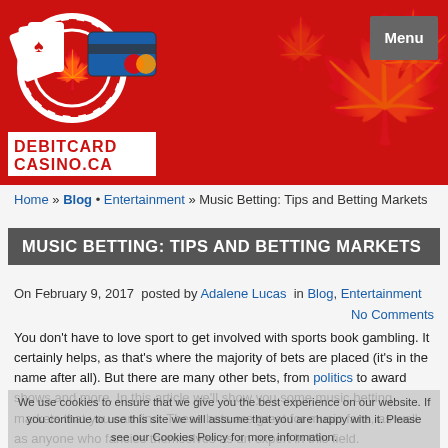[Figure (logo): DebitCardCasino.ca logo with casino chip with Canadian maple leaf, playing cards, and credit card icon, on a red background with Canadian maple leaf pattern. White menu button top right.]
Home » Blog • Entertainment » Music Betting: Tips and Betting Markets
MUSIC BETTING: TIPS AND BETTING MARKETS
On February 9, 2017  posted by Adalene Lucas  in Blog, Entertainment
No Comments
You don't have to love sport to get involved with sports book gambling. It certainly helps, as that's where the majority of bets are placed (it's in the name after all). But there are many other bets, from politics to award shows and more. In this article we'll show you some music betting markets that you can find. These bets are great for music fans, as well as anyone who fancies themselves as an expert in this field.
We use cookies to ensure that we give you the best experience on our website. If you continue to use this site we will assume that you are happy with it. Please see our Cookies Policy for more information.